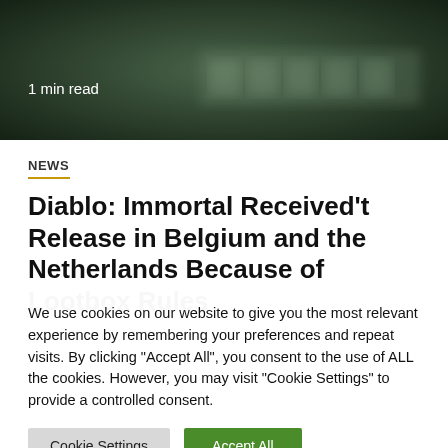[Figure (photo): Blurred dark green background hero image]
1 min read
NEWS
Diablo: Immortal Received't Release in Belgium and the Netherlands Because of Lootbox Rules
3 months ago   Bossetlvan
We use cookies on our website to give you the most relevant experience by remembering your preferences and repeat visits. By clicking "Accept All", you consent to the use of ALL the cookies. However, you may visit "Cookie Settings" to provide a controlled consent.